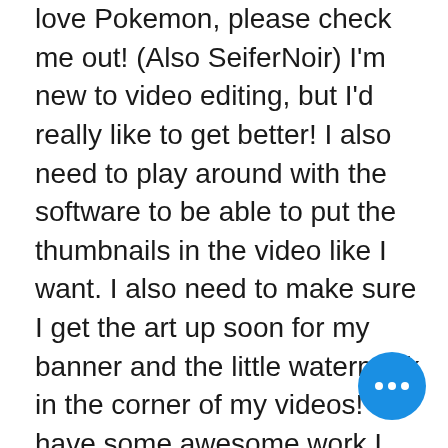love Pokemon, please check me out! (Also SeiferNoir) I'm new to video editing, but I'd really like to get better! I also need to play around with the software to be able to put the thumbnails in the video like I want. I also need to make sure I get the art up soon for my banner and the little watermark in the corner of my videos! I have some awesome work I can't wait to show off my friend's gorgeous art! I'd like to try to hit 50 subscribers, so please follow if you haven't already!

I also held my first amigurumi crochet raffle, which I feel was pretty successful! I really need to revamp some things, hope you'll join this month's raffle! set up crochet commissions through my
[Figure (other): Blue circular floating action button with three white dots (ellipsis menu icon)]